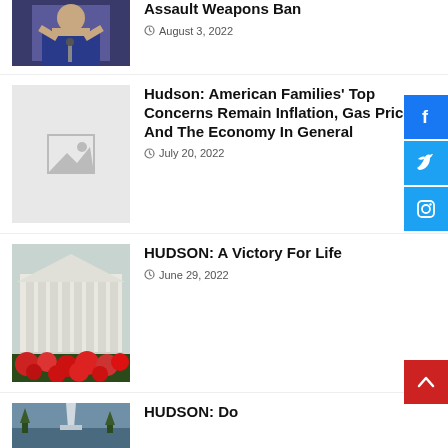[Figure (photo): Partial photo of a woman in blue jacket at a podium with microphone]
Assault Weapons Ban
August 3, 2022
[Figure (photo): Image placeholder with grey background]
Hudson: American Families’ Top Concerns Remain Inflation, Gas Prices, And The Economy In General
July 20, 2022
[Figure (photo): Photo of the US Supreme Court building with red flowers in foreground]
HUDSON: A Victory For Life
June 29, 2022
[Figure (photo): Partial photo at bottom of page]
HUDSON: Do